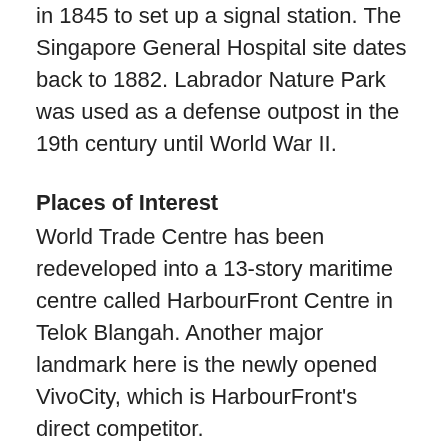in 1845 to set up a signal station. The Singapore General Hospital site dates back to 1882. Labrador Nature Park was used as a defense outpost in the 19th century until World War II.
Places of Interest
World Trade Centre has been redeveloped into a 13-story maritime centre called HarbourFront Centre in Telok Blangah. Another major landmark here is the newly opened VivoCity, which is HarbourFront's direct competitor.
Situated within minutes of Sentosa Island, VivoCity was first opened on December 1, 2006, and houses more than 300 retail and F&B outlets over 1 million square feet of floor space. The iconic design of the development is the proud work of internationally acclaimed architect Toyo Ito.